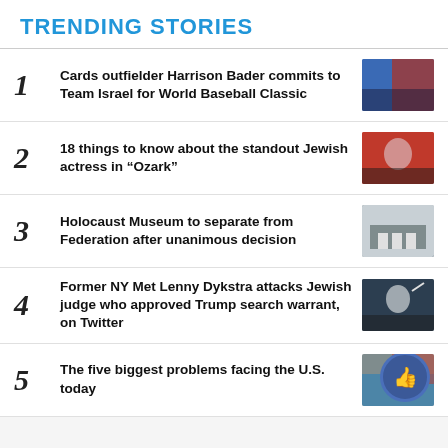TRENDING STORIES
1 Cards outfielder Harrison Bader commits to Team Israel for World Baseball Classic
2 18 things to know about the standout Jewish actress in “Ozark”
3 Holocaust Museum to separate from Federation after unanimous decision
4 Former NY Met Lenny Dykstra attacks Jewish judge who approved Trump search warrant, on Twitter
5 The five biggest problems facing the U.S. today